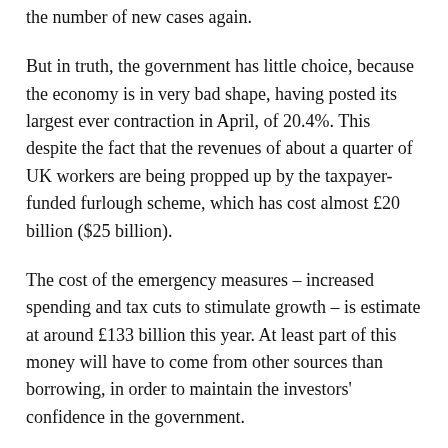the number of new cases again.
But in truth, the government has little choice, because the economy is in very bad shape, having posted its largest ever contraction in April, of 20.4%. This despite the fact that the revenues of about a quarter of UK workers are being propped up by the taxpayer-funded furlough scheme, which has cost almost £20 billion ($25 billion).
The cost of the emergency measures – increased spending and tax cuts to stimulate growth – is estimate at around £133 billion this year. At least part of this money will have to come from other sources than borrowing, in order to maintain the investors' confidence in the government.
How about a wealth tax?
In this context, an article by Reuters news agency quoting a